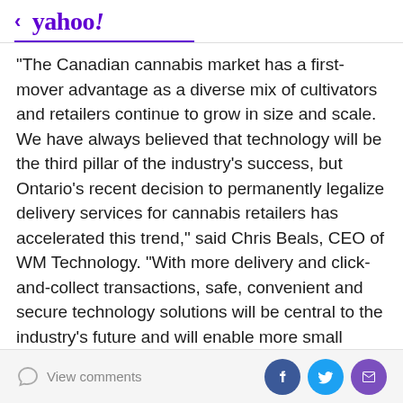< yahoo!
"The Canadian cannabis market has a first-mover advantage as a diverse mix of cultivators and retailers continue to grow in size and scale. We have always believed that technology will be the third pillar of the industry's success, but Ontario's recent decision to permanently legalize delivery services for cannabis retailers has accelerated this trend," said Chris Beals, CEO of WM Technology. "With more delivery and click-and-collect transactions, safe, convenient and secure technology solutions will be central to the industry's future and will enable more small businesses to serve customer demand."
With data-driven insights helping to set the…
View comments